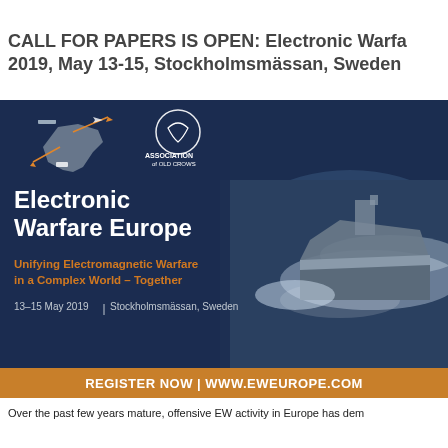CALL FOR PAPERS IS OPEN: Electronic Warfare Europe 2019, May 13-15, Stockholmsmässan, Sweden
[Figure (infographic): Electronic Warfare Europe 2019 conference banner with dark blue background, naval vessel at sea, Association of Old Crows logo, Europe map graphic. Text: 'Electronic Warfare Europe', 'Unifying Electromagnetic Warfare in a Complex World – Together', '13–15 May 2019 | Stockholmsmässan, Sweden']
REGISTER NOW | WWW.EWEUROPE.COM
Over the past few years mature, offensive EW activity in Europe has dem...